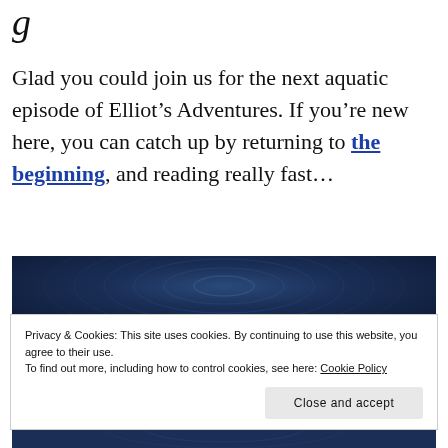g
Glad you could join us for the next aquatic episode of Elliot’s Adventures. If you’re new here, you can catch up by returning to the beginning, and reading really fast…
[Figure (photo): Dark navy blue water surface with ripple patterns, partially obscured by cookie consent banner]
Privacy & Cookies: This site uses cookies. By continuing to use this website, you agree to their use.
To find out more, including how to control cookies, see here: Cookie Policy
Close and accept